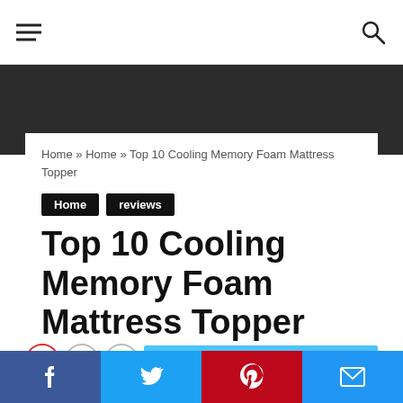Home » Home » Top 10 Cooling Memory Foam Mattress Topper
Home   reviews
Top 10 Cooling Memory Foam Mattress Topper
bigpoppaslims  •  July 19, 2020  👁 3  💬
Facebook  Twitter  Pinterest  Email